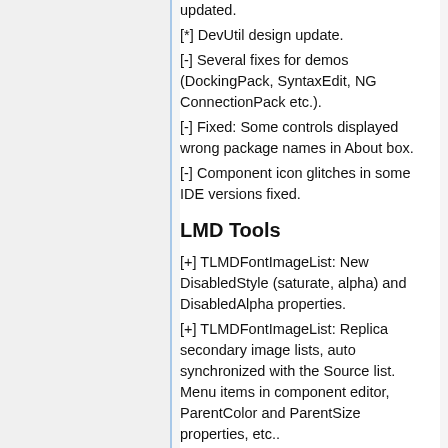updated.
[*] DevUtil design update.
[-] Several fixes for demos (DockingPack, SyntaxEdit, NG ConnectionPack etc.).
[-] Fixed: Some controls displayed wrong package names in About box.
[-] Component icon glitches in some IDE versions fixed.
LMD Tools
[+] TLMDFontImageList: New DisabledStyle (saturate, alpha) and DisabledAlpha properties.
[+] TLMDFontImageList: Replica secondary image lists, auto synchronized with the Source list. Menu items in component editor, ParentColor and ParentSize properties, etc..
[+] TLMFFontCollection: Component for